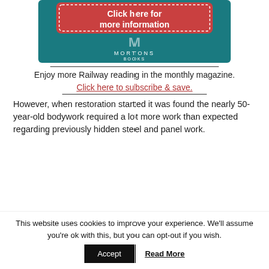[Figure (other): Mortons Books banner ad with teal background, red button saying 'Click here for more information' with dotted border, and Mortons Books logo below]
Enjoy more Railway reading in the monthly magazine.
Click here to subscribe & save.
However, when restoration started it was found the nearly 50-year-old bodywork required a lot more work than expected regarding previously hidden steel and panel work.
This website uses cookies to improve your experience. We'll assume you're ok with this, but you can opt-out if you wish.